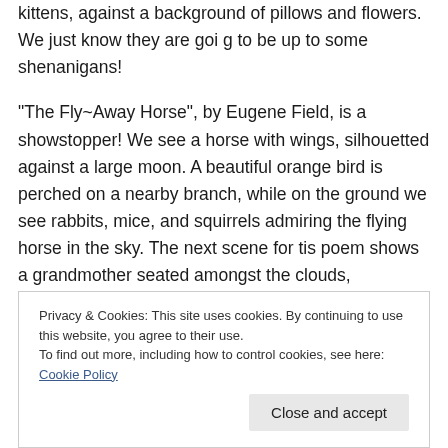kittens, against a background of pillows and flowers. We just know they are goi g to be up to some shenanigans!
“The Fly~Away Horse”, by Eugene Field, is a showstopper! We see a horse with wings, silhouetted against a large moon. A beautiful orange bird is perched on a nearby branch, while on the ground we see rabbits, mice, and squirrels admiring the flying horse in the sky. The next scene for tis poem shows a grandmother seated amongst the clouds, surrounded by young children. Several more scenes follow, the imagery adding amazing depth to the already deep words.
Privacy & Cookies: This site uses cookies. By continuing to use this website, you agree to their use. To find out more, including how to control cookies, see here: Cookie Policy